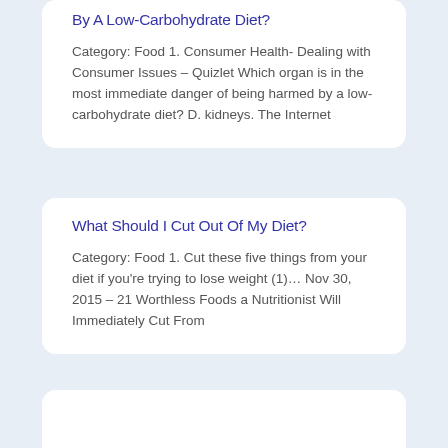By A Low-Carbohydrate Diet?
Category: Food 1. Consumer Health- Dealing with Consumer Issues – Quizlet Which organ is in the most immediate danger of being harmed by a low-carbohydrate diet? D. kidneys. The Internet
What Should I Cut Out Of My Diet?
Category: Food 1. Cut these five things from your diet if you're trying to lose weight (1)… Nov 30, 2015 – 21 Worthless Foods a Nutritionist Will Immediately Cut From